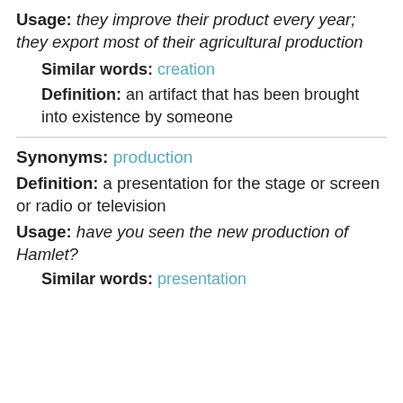Usage: they improve their product every year; they export most of their agricultural production
Similar words: creation
Definition: an artifact that has been brought into existence by someone
Synonyms: production
Definition: a presentation for the stage or screen or radio or television
Usage: have you seen the new production of Hamlet?
Similar words: presentation